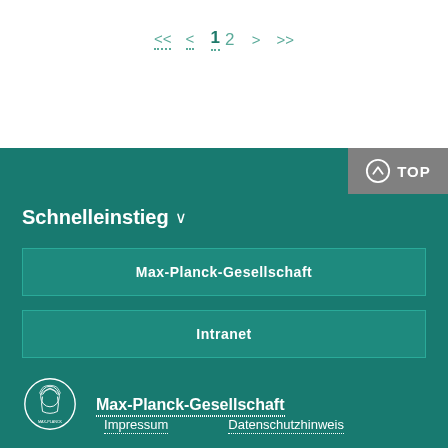<< < 1 2 > >>
Schnelleinstieg
Max-Planck-Gesellschaft
Intranet
[Figure (logo): Max-Planck-Gesellschaft circular coin/medallion logo outline in white on teal]
Max-Planck-Gesellschaft
Impressum   Datenschutzhinweis